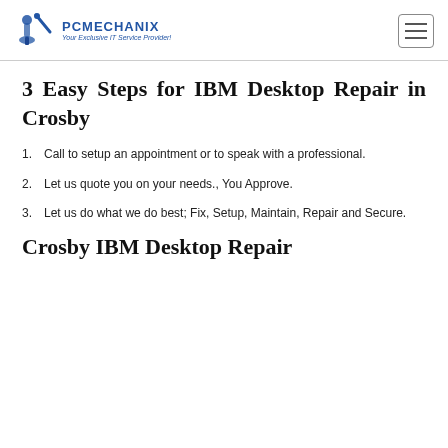PC MECHANIX — Your Exclusive IT Service Provider!
3 Easy Steps for IBM Desktop Repair in Crosby
1. Call to setup an appointment or to speak with a professional.
2. Let us quote you on your needs., You Approve.
3. Let us do what we do best; Fix, Setup, Maintain, Repair and Secure.
Crosby IBM Desktop Repair